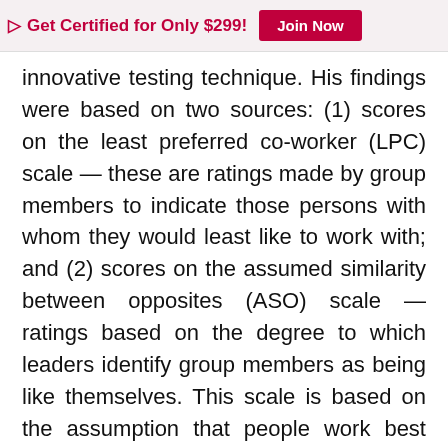▷ Get Certified for Only $299! Join Now
innovative testing technique. His findings were based on two sources: (1) scores on the least preferred co-worker (LPC) scale — these are ratings made by group members to indicate those persons with whom they would least like to work with; and (2) scores on the assumed similarity between opposites (ASO) scale — ratings based on the degree to which leaders identify group members as being like themselves. This scale is based on the assumption that people work best with those with whom they can relate. Even today the LPC scale is used in leadership research.
On the basis of LPC measures, Fiedler found